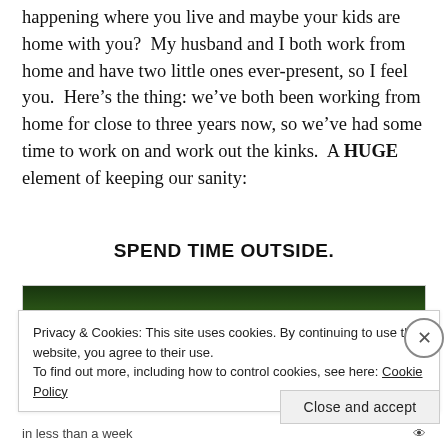happening where you live and maybe your kids are home with you?  My husband and I both work from home and have two little ones ever-present, so I feel you.  Here's the thing: we've both been working from home for close to three years now, so we've had some time to work on and work out the kinks.  A HUGE element of keeping our sanity:
SPEND TIME OUTSIDE.
[Figure (photo): Dark outdoor/nature photo with green foliage, partially obscured by cookie consent overlay]
Privacy & Cookies: This site uses cookies. By continuing to use this website, you agree to their use.
To find out more, including how to control cookies, see here: Cookie Policy
Close and accept
in less than a week